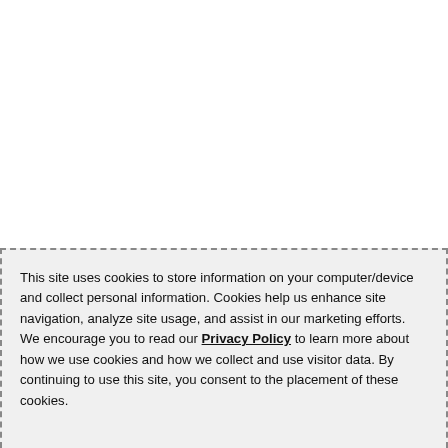This site uses cookies to store information on your computer/device and collect personal information. Cookies help us enhance site navigation, analyze site usage, and assist in our marketing efforts. We encourage you to read our Privacy Policy to learn more about how we use cookies and how we collect and use visitor data. By continuing to use this site, you consent to the placement of these cookies.